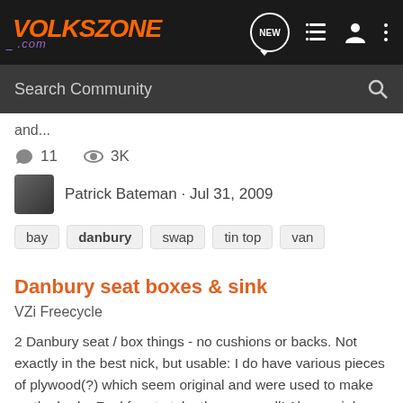VOLKSZONE .com
and...
11  3K
Patrick Bateman · Jul 31, 2009
bay   danbury   swap   tin top   van
Danbury seat boxes & sink
VZi Freecycle
2 Danbury seat / box things - no cushions or backs. Not exactly in the best nick, but usable: I do have various pieces of plywood(?) which seem original and were used to make up the bed... Feel free to take these as well! Also, a sink, taken from a Danbury, no idea if it's original or not...
3  2K